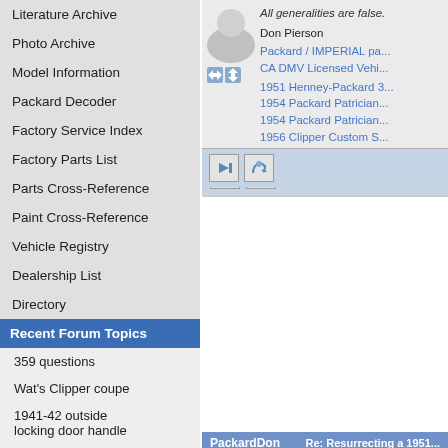Literature Archive
Photo Archive
Model Information
Packard Decoder
Factory Service Index
Factory Parts List
Parts Cross-Reference
Paint Cross-Reference
Vehicle Registry
Dealership List
Directory
Recent Forum Topics
359 questions
Wat's Clipper coupe
1941-42 outside locking door handle
1937 120c 282ci rear coolant drain type?
37 with efi... yes please
1938 1608 for sale
All generalities are false.
Don Pierson
Packard / IMPERIAL pa... CA DMV Licensed Vehi...
1951 Henney-Packard 3...
1954 Packard Patrician...
1954 Packard Patrician...
1956 Clipper Custom S...
PackardDon   Re: Resurrecting a 1951...
Home away from home
I made some headway to... and even my impact wre... the side of one but the d...
With some experimentati... cracker seemed to shak... loose alternately would b... and forth repeatedly favo... PBlaster too. After remo... I might as well make use... floor!
Now that there was a me... shackles removed and d... initially dropped down a...